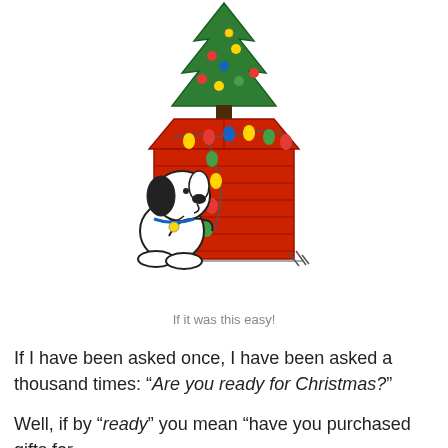[Figure (illustration): Cartoon illustration of Snoopy decorating his red doghouse with Christmas lights, with a Christmas tree on top of the doghouse. Snoopy is white with black ears, holding a string of colorful lights. The doghouse is red with horizontal lines. The Christmas tree is green with colorful ornaments.]
If it was this easy!
If I have been asked once, I have been asked a thousand times: “Are you ready for Christmas?”
Well, if by “ready” you mean “have you purchased gifts for